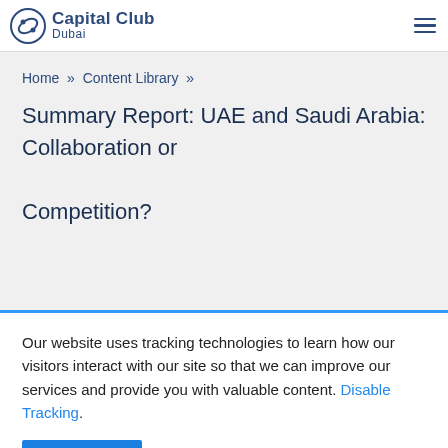Capital Club Dubai
Home » Content Library »
Summary Report: UAE and Saudi Arabia: Collaboration or Competition?
Our website uses tracking technologies to learn how our visitors interact with our site so that we can improve our services and provide you with valuable content. Disable Tracking. OK